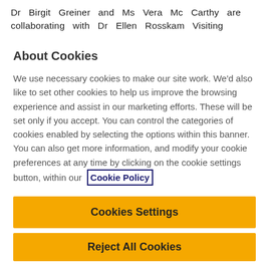Dr Birgit Greiner and Ms Vera Mc Carthy are collaborating with Dr Ellen Rosskam Visiting
About Cookies
We use necessary cookies to make our site work. We'd also like to set other cookies to help us improve the browsing experience and assist in our marketing efforts. These will be set only if you accept. You can control the categories of cookies enabled by selecting the options within this banner. You can also get more information, and modify your cookie preferences at any time by clicking on the cookie settings button, within our Cookie Policy
Cookies Settings
Reject All Cookies